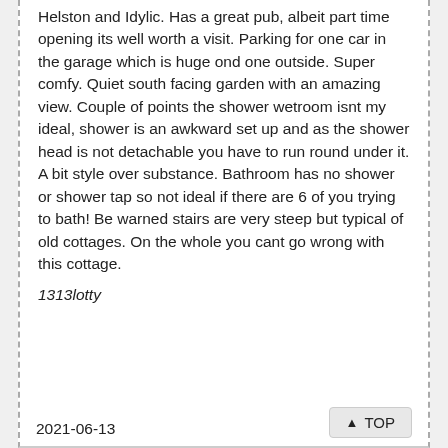Helston and Idylic. Has a great pub, albeit part time opening its well worth a visit. Parking for one car in the garage which is huge ond one outside. Super comfy. Quiet south facing garden with an amazing view. Couple of points the shower wetroom isnt my ideal, shower is an awkward set up and as the shower head is not detachable you have to run round under it. A bit style over substance. Bathroom has no shower or shower tap so not ideal if there are 6 of you trying to bath! Be warned stairs are very steep but typical of old cottages. On the whole you cant go wrong with this cottage.
1313lotty
2021-06-13